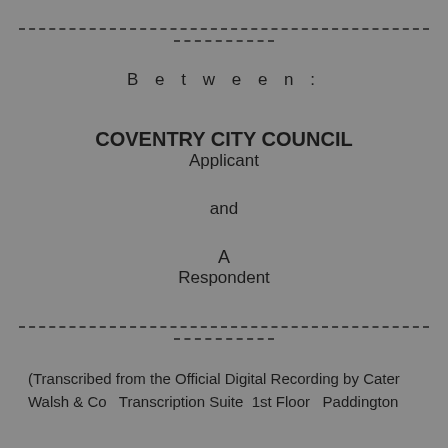Between:
COVENTRY CITY COUNCIL
Applicant
and
A
Respondent
(Transcribed from the Official Digital Recording by Cater Walsh & Co   Transcription Suite  1st Floor   Paddington